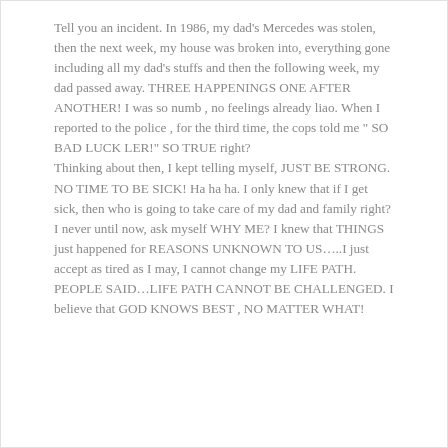Tell you an incident. In 1986, my dad's Mercedes was stolen, then the next week, my house was broken into, everything gone including all my dad's stuffs and then the following week, my dad passed away. THREE HAPPENINGS ONE AFTER ANOTHER! I was so numb , no feelings already liao. When I reported to the police , for the third time, the cops told me " SO BAD LUCK LER!" SO TRUE right?
Thinking about then, I kept telling myself, JUST BE STRONG. NO TIME TO BE SICK! Ha ha ha. I only knew that if I get sick, then who is going to take care of my dad and family right? I never until now, ask myself WHY ME? I knew that THINGS just happened for REASONS UNKNOWN TO US…..I just accept as tired as I may, I cannot change my LIFE PATH. PEOPLE SAID…LIFE PATH CANNOT BE CHALLENGED. I believe that GOD KNOWS BEST , NO MATTER WHAT!